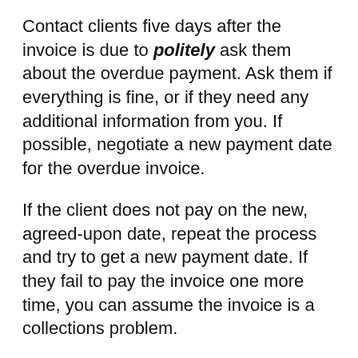Contact clients five days after the invoice is due to politely ask them about the overdue payment. Ask them if everything is fine, or if they need any additional information from you. If possible, negotiate a new payment date for the overdue invoice.
If the client does not pay on the new, agreed-upon date, repeat the process and try to get a new payment date. If they fail to pay the invoice one more time, you can assume the invoice is a collections problem.
Step #6: Manage disputes
The acceptance letter from Step #3 should have caught most potential problems before they become full-blown disputes. However, every so